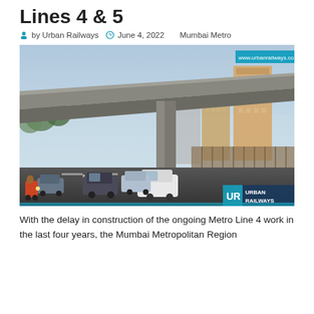Lines 4 & 5
by Urban Railways   June 4, 2022   Mumbai Metro
[Figure (photo): Elevated metro rail viaduct under construction over a busy road in Mumbai, with tall residential buildings in the background, traffic below including cars and motorcycles. Urban Railways logo and watermark visible.]
With the delay in construction of the ongoing Metro Line 4 work in the last four years, the Mumbai Metropolitan Region